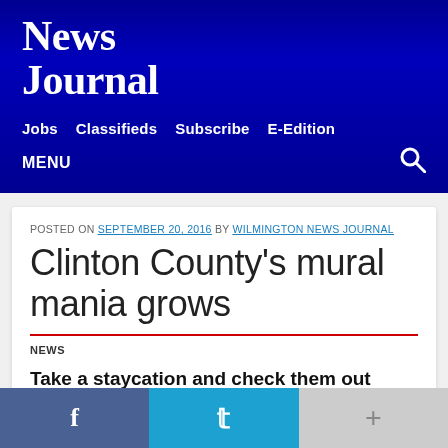News Journal
Jobs  Classifieds  Subscribe  E-Edition
MENU
POSTED ON SEPTEMBER 20, 2016 BY WILMINGTON NEWS JOURNAL
Clinton County's mural mania grows
NEWS
Take a staycation and check them out